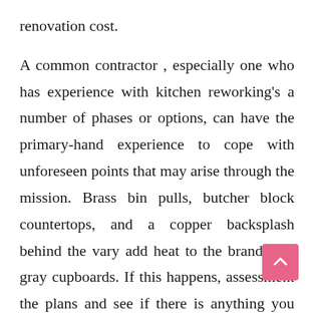renovation cost.
A common contractor , especially one who has experience with kitchen reworking's a number of phases or options, can have the primary-hand experience to cope with unforeseen points that may arise through the mission. Brass bin pulls, butcher block countertops, and a copper backsplash behind the vary add heat to the brand new gray cupboards. If this happens, assessment the plans and see if there is anything you possibly can cut back on or if there's something which you can postpone for a while till you have saved up for it. It is necessary to stay to your unique funds so you don't end up